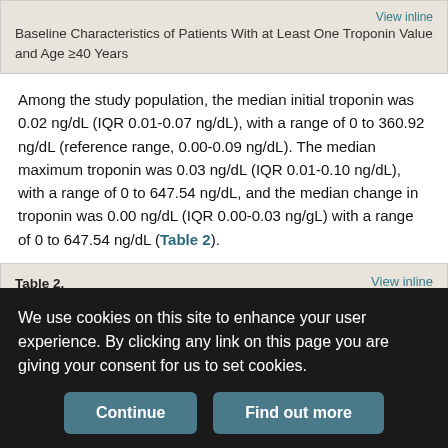Baseline Characteristics of Patients With at Least One Troponin Value and Age ≥40 Years
Among the study population, the median initial troponin was 0.02 ng/dL (IQR 0.01-0.07 ng/dL), with a range of 0 to 360.92 ng/dL (reference range, 0.00-0.09 ng/dL). The median maximum troponin was 0.03 ng/dL (IQR 0.01-0.10 ng/dL), with a range of 0 to 647.54 ng/dL, and the median change in troponin was 0.00 ng/dL (IQR 0.00-0.03 ng/gL) with a range of 0 to 647.54 ng/dL (Table 2).
Table 2. Quartile Distribution of Initial, Maximum, and Change in Troponin Level
Troponin as a significant predictor of death was analyzed showing
We use cookies on this site to enhance your user experience. By clicking any link on this page you are giving your consent for us to set cookies.